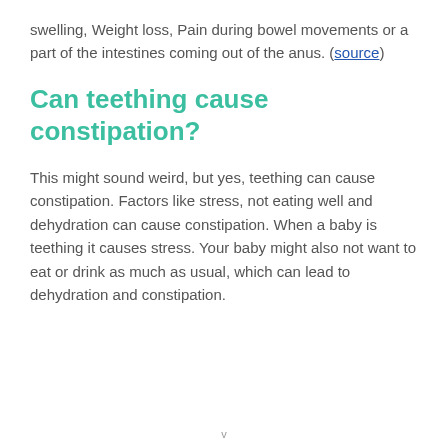swelling, Weight loss, Pain during bowel movements or a part of the intestines coming out of the anus. (source)
Can teething cause constipation?
This might sound weird, but yes, teething can cause constipation. Factors like stress, not eating well and dehydration can cause constipation. When a baby is teething it causes stress. Your baby might also not want to eat or drink as much as usual, which can lead to dehydration and constipation.
v